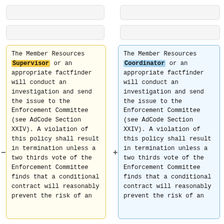The Member Resources Supervisor or an appropriate factfinder will conduct an investigation and send the issue to the Enforcement Committee (see AdCode Section XXIV). A violation of this policy shall result in termination unless a two thirds vote of the Enforcement Committee finds that a conditional contract will reasonably prevent the risk of an
The Member Resources Coordinator or an appropriate factfinder will conduct an investigation and send the issue to the Enforcement Committee (see AdCode Section XXIV). A violation of this policy shall result in termination unless a two thirds vote of the Enforcement Committee finds that a conditional contract will reasonably prevent the risk of an